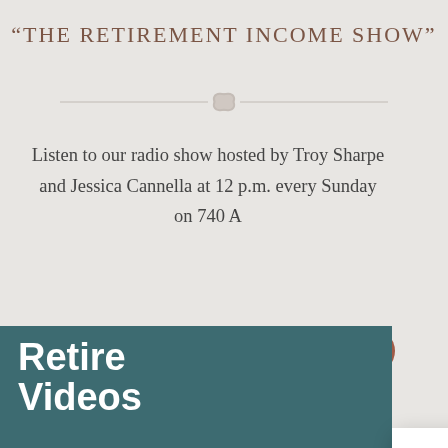“THE RETIREMENT INCOME SHOW”
[Figure (illustration): Decorative horizontal divider with a small leaf/snowflake icon in the center, flanked by horizontal lines]
Listen to our radio show hosted by Troy Sharpe and Jessica Cannella at 12 p.m. every Sunday on 740 A...
[Figure (screenshot): Brown rounded button partially visible with text 'LIS...' (LISTEN NOW button, partially obscured by chat popup)]
[Figure (screenshot): Chat widget popup showing: brand logo icon, sleeping face emoji with Z letters, text 'We’re offline', and underlined link 'Leave a message'. A minus/minimize button is in the upper right.]
Retire
Videos
[Figure (illustration): Teal/dark green banner at bottom showing partial text 'Retire' and 'Videos' in bold white text]